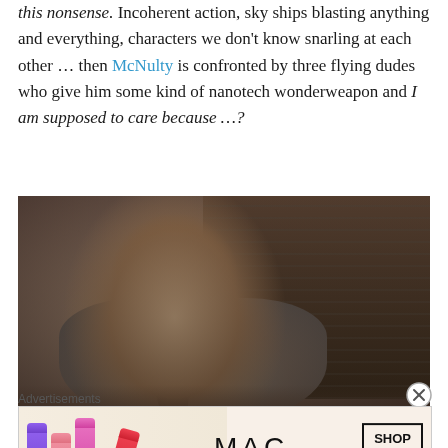this nonsense. Incoherent action, sky ships blasting anything and everything, characters we don't know snarling at each other … then McNulty is confronted by three flying dudes who give him some kind of nanotech wonderweapon and I am supposed to care because …?
[Figure (photo): A man in a grey shirt and dark tie sitting at a desk in a cluttered office, looking up thoughtfully. The lighting is warm and cinematic.]
Advertisements
[Figure (photo): MAC Cosmetics advertisement showing lipsticks in purple, pink, hot pink and red colors with MAC logo and SHOP NOW button]